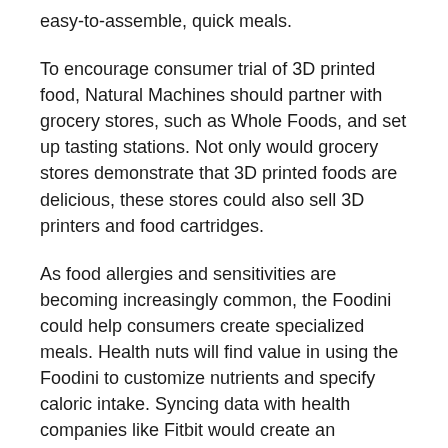easy-to-assemble, quick meals.
To encourage consumer trial of 3D printed food, Natural Machines should partner with grocery stores, such as Whole Foods, and set up tasting stations. Not only would grocery stores demonstrate that 3D printed foods are delicious, these stores could also sell 3D printers and food cartridges.
As food allergies and sensitivities are becoming increasingly common, the Foodini could help consumers create specialized meals. Health nuts will find value in using the Foodini to customize nutrients and specify caloric intake. Syncing data with health companies like Fitbit would create an ecosystem that enables people to achieve their individual wellness goals.